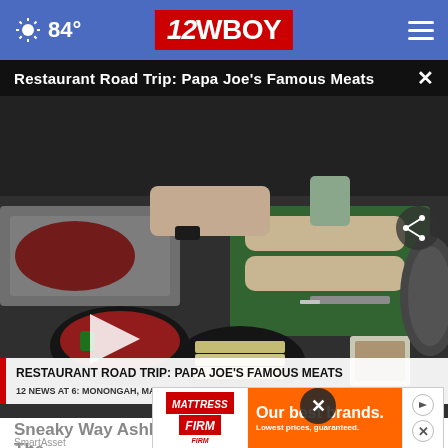84° | 12WBOY
Restaurant Road Trip: Papa Joe's Famous Meats
[Figure (screenshot): Video thumbnail showing a kitchen counter with food prep — hoagie rolls on a green cutting board, bowls of toppings, a pan of meats. A white play button triangle is visible on the left. Lower-third chyron reads: RESTAURANT ROAD TRIP: PAPA JOE'S FAMOUS MEATS / 12 NEWS AT 6: MONONGAH, MARION COUNTY]
Sneaky Way Ashburn Homeowners Are Getting Their...
SmartAsset
[Figure (infographic): Mattress Firm advertisement banner: logo on left with red background, orange center area with text 'Our best brands. Lowest prices, guaranteed.' Action buttons on right.]